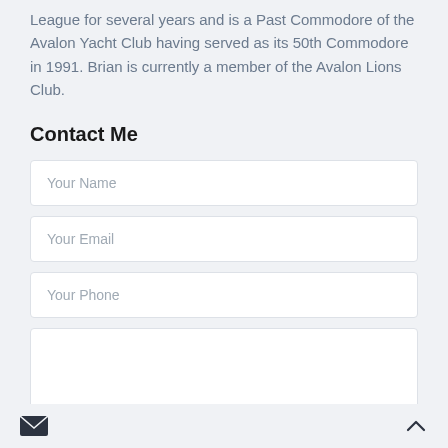League for several years and is a Past Commodore of the Avalon Yacht Club having served as its 50th Commodore in 1991. Brian is currently a member of the Avalon Lions Club.
Contact Me
[Figure (screenshot): Contact form with fields: Your Name, Your Email, Your Phone, and a large text area message field]
Email icon and back-to-top chevron icon